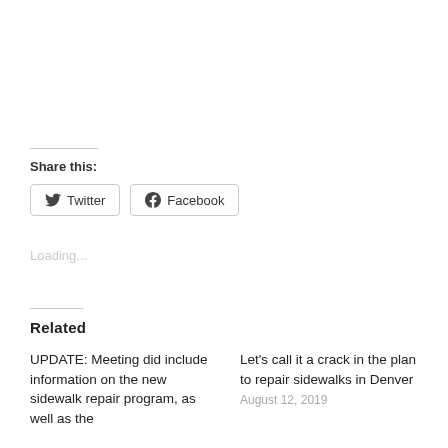Share this:
Twitter  Facebook
Loading...
Related
UPDATE: Meeting did include information on the new sidewalk repair program, as well as the
Let's call it a crack in the plan to repair sidewalks in Denver
August 12, 2019